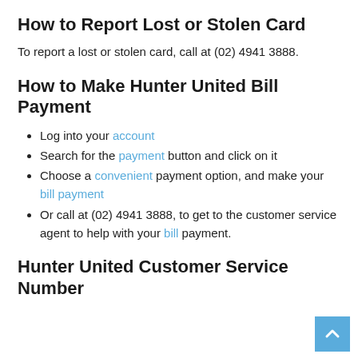How to Report Lost or Stolen Card
To report a lost or stolen card, call at (02) 4941 3888.
How to Make Hunter United Bill Payment
Log into your account
Search for the payment button and click on it
Choose a convenient payment option, and make your bill payment
Or call at (02) 4941 3888, to get to the customer service agent to help with your bill payment.
Hunter United Customer Service Number